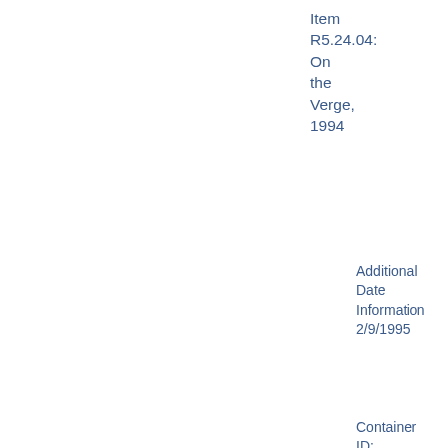Item R5.24.04: On the Verge, 1994
Additional Date Information 2/9/1995
Container ID: Box 24
Format: Video cassette
Sub-Series 1999
Item R5.34.5: Play: "The Birthday Part"